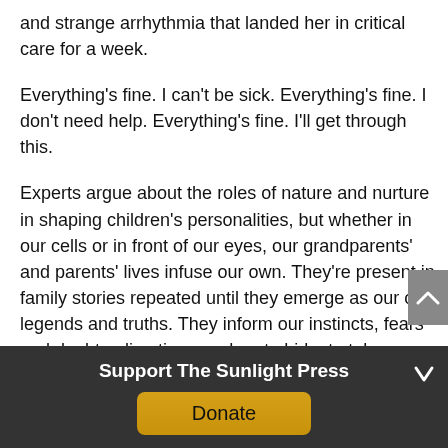and strange arrhythmia that landed her in critical care for a week.
Everything's fine. I can't be sick. Everything's fine. I don't need help. Everything's fine. I'll get through this.
Experts argue about the roles of nature and nurture in shaping children's personalities, but whether in our cells or in front of our eyes, our grandparents' and parents' lives infuse our own. They're present in family stories repeated until they emerge as our own legends and truths. They inform our instincts, fears and doubts, directing us when to hide, to take offense, to bristle, to deny. They caution us of danger, imagined and real. They flush our cheeks with shame at the prospect of
Support The Sunlight Press